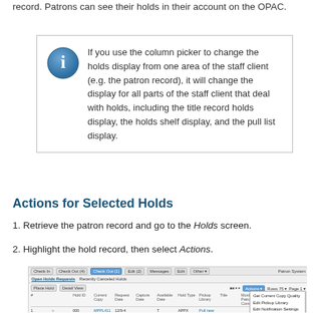record. Patrons can see their holds in their account on the OPAC.
[Figure (infographic): Info box with blue information icon. Text reads: If you use the column picker to change the holds display from one area of the staff client (e.g. the patron record), it will change the display for all parts of the staff client that deal with holds, including the title record holds display, the holds shelf display, and the pull list display.]
Actions for Selected Holds
1. Retrieve the patron record and go to the Holds screen.
2. Highlight the hold record, then select Actions.
[Figure (screenshot): Screenshot of the Koha ILS staff client showing the Open Holds Requests screen with a table of hold records, toolbar with tab buttons including an active blue 'Check Out' button, and an Actions dropdown menu visible with options including Get Current Copy Quality, Edit Pickup Library, Edit Notification Settings, Edit Hold Dates.]